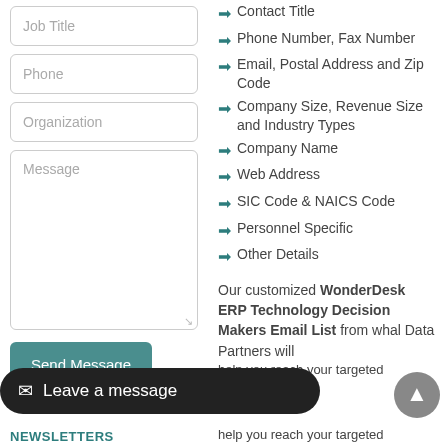[Figure (screenshot): Web form with input fields: Job Title, Phone, Organization, Message textarea, and Send Message button]
Contact Title
Phone Number, Fax Number
Email, Postal Address and Zip Code
Company Size, Revenue Size and Industry Types
Company Name
Web Address
SIC Code & NAICS Code
Personnel Specific
Other Details
Our customized WonderDesk ERP Technology Decision Makers Email List from whal Data Partners will help you reach your targeted
NEWSLETTERS
help you reach your targeted